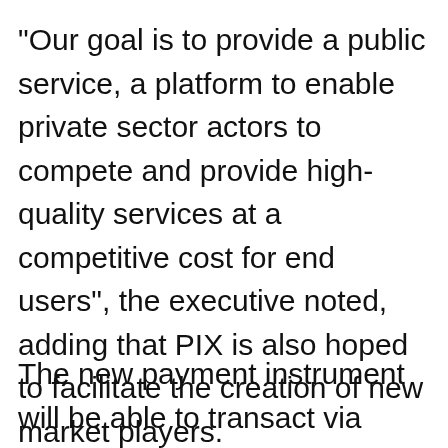"Our goal is to provide a public service, a platform to enable private sector actors to compete and provide high-quality services at a competitive cost for end users", the executive noted, adding that PIX is also hoped to facilitate the creation of new market players.
The new payment instrument will be able to transact via multiple methods such as QR codes or